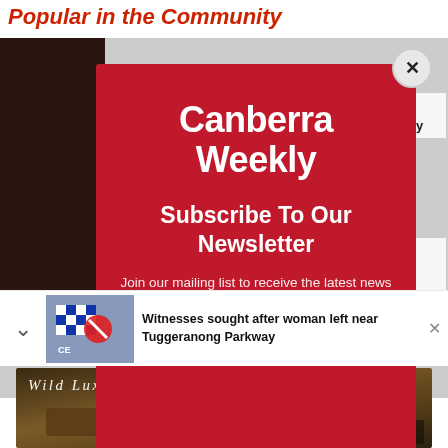Popular in the Community
[Figure (screenshot): Canberra Weekly newsletter subscription modal popup with red background. Contains the Canberra Weekly logo, 'Subscribe To Our Newsletter' heading, and body text 'Join our mailing list to receive the latest news straight to your inbox.' A close button (x) is in the top right corner.]
Witnesses sought after woman left near Tuggeranong Parkway
[Figure (photo): Advertisement banner for Wild Luxury / Jamala Wildlife Lodge showing interior lodge setting with rustic furniture.]